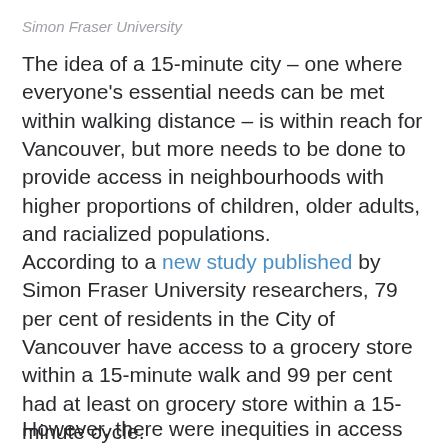Simon Fraser University
The idea of a 15-minute city – one where everyone's essential needs can be met within walking distance – is within reach for Vancouver, but more needs to be done to provide access in neighbourhoods with higher proportions of children, older adults, and racialized populations.
According to a new study published by Simon Fraser University researchers, 79 per cent of residents in the City of Vancouver have access to a grocery store within a 15-minute walk and 99 per cent had at least on grocery store within a 15-minute cycle.
However, there were inequities in access